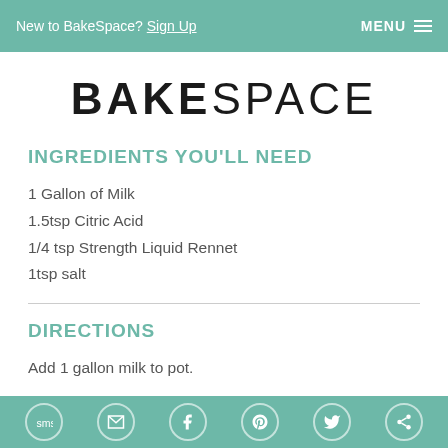New to BakeSpace? Sign Up  MENU
BAKESPACE
INGREDIENTS YOU'LL NEED
1 Gallon of Milk
1.5tsp Citric Acid
1/4 tsp Strength Liquid Rennet
1tsp salt
DIRECTIONS
Add 1 gallon milk to pot.
SMS | Email | Facebook | Pinterest | Twitter | Other